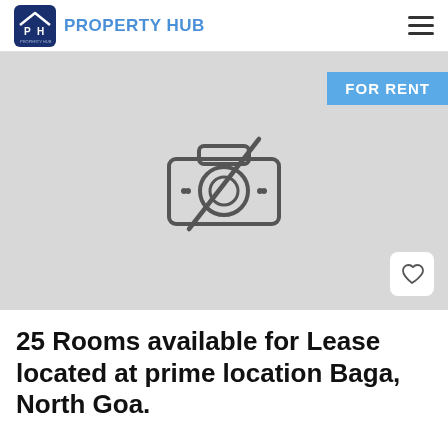PROPERTY HUB
[Figure (photo): No-image placeholder with a camera icon crossed out, on a light grey background. A 'FOR RENT' badge appears in the top right corner and a heart/favourite button in the bottom right corner.]
25 Rooms available for Lease located at prime location Baga, North Goa.